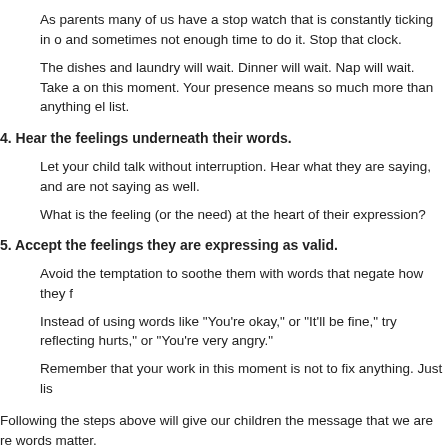As parents many of us have a stop watch that is constantly ticking in o... and sometimes not enough time to do it. Stop that clock.
The dishes and laundry will wait. Dinner will wait. Nap will wait. Take a... on this moment. Your presence means so much more than anything el... list.
4. Hear the feelings underneath their words.
Let your child talk without interruption. Hear what they are saying, and... are not saying as well.
What is the feeling (or the need) at the heart of their expression?
5. Accept the feelings they are expressing as valid.
Avoid the temptation to soothe them with words that negate how they f...
Instead of using words like "You're okay," or "It'll be fine," try reflecting... hurts," or "You're very angry."
Remember that your work in this moment is not to fix anything. Just lis...
Following the steps above will give our children the message that we are re... words matter.
We demonstrate that we aren't going to swoop in to try to fix it and we aren't...